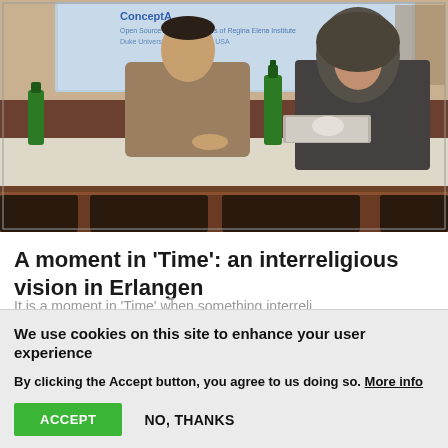[Figure (photo): Conference photo showing two people seated at a table — a man on the left and a woman wearing a hijab on the right — with a projection screen visible in the background showing presentation text including 'Concept' and partial text. Green bottles and a laptop are on the table.]
A moment in ‘Time’: an interreligious vision in Erlangen
We use cookies on this site to enhance your user experience
By clicking the Accept button, you agree to us doing so. More info